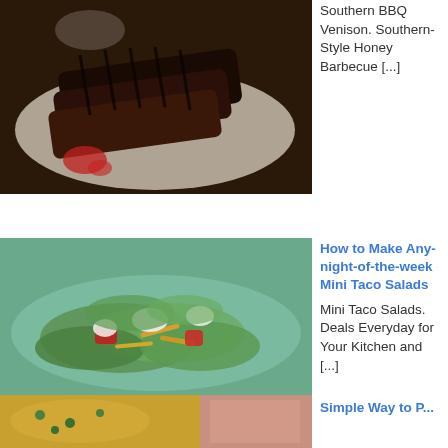[Figure (photo): Grilled venison/meat slices on a white plate with red sauce]
Southern BBQ Venison. Southern-Style Honey Barbecue [...]
[Figure (photo): Mini taco salad on a plate with lettuce, cheese, tomato, and sour cream]
How to Make Any-night-of-the-week Mini Taco Salads
Mini Taco Salads. Deals Everyday for Your Kitchen and [...]
[Figure (photo): Curry or stew dish with vegetables]
Simple Way to P...